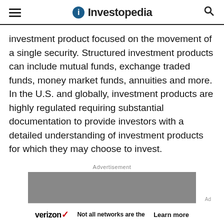Investopedia
investment product focused on the movement of a single security. Structured investment products can include mutual funds, exchange traded funds, money market funds, annuities and more. In the U.S. and globally, investment products are highly regulated requiring substantial documentation to provide investors with a detailed understanding of investment products for which they may choose to invest.
[Figure (other): Advertisement banner showing a Verizon ad with text 'Not all networks are the' and a 'Learn more' link, on a grey background with a decorative image strip.]